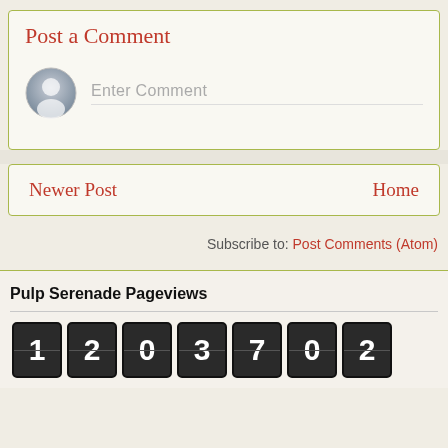Post a Comment
Enter Comment
Newer Post
Home
Subscribe to: Post Comments (Atom)
Pulp Serenade Pageviews
1203702